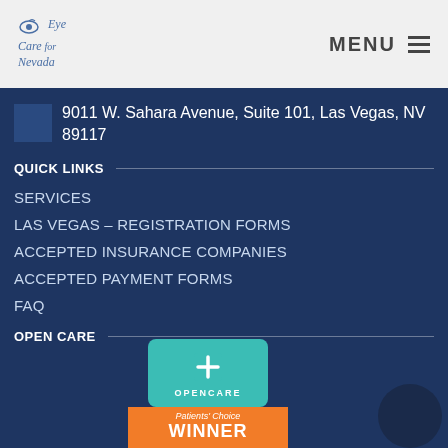[Figure (logo): Eye Care for Nevada logo with eye icon and text]
MENU ≡
9011 W. Sahara Avenue, Suite 101, Las Vegas, NV 89117
QUICK LINKS
SERVICES
LAS VEGAS – REGISTRATION FORMS
ACCEPTED INSURANCE COMPANIES
ACCEPTED PAYMENT FORMS
FAQ
OPEN CARE
[Figure (logo): Opencare Patients' Choice Winner badge with teal square and orange ribbon]